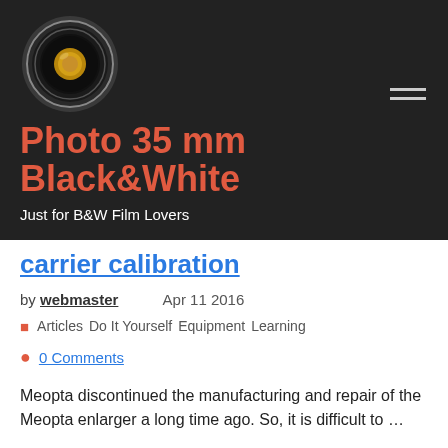[Figure (logo): Camera lens logo for Photo 35mm Black&White blog]
Photo 35 mm Black&White
Just for B&W Film Lovers
carrier calibration
by webmaster   Apr 11 2016
Articles  Do It Yourself  Equipment  Learning
0 Comments
Meopta discontinued the manufacturing and repair of the Meopta enlarger a long time ago. So, it is difficult to ...